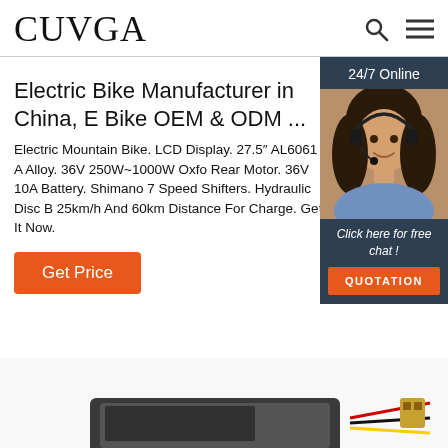CUVGA
Electric Bike Manufacturer in China, E Bike OEM & ODM ...
Electric Mountain Bike. LCD Display. 27.5″ AL6061 A Alloy. 36V 250W~1000W Oxfo Rear Motor. 36V 10A Battery. Shimano 7 Speed Shifters. Hydraulic Disc B 25km/h And 60km Distance For Charge. Get It Now.
[Figure (infographic): Chat widget with 24/7 Online header, a customer service representative photo, 'Click here for free chat!' text, and QUOTATION button]
Get Price
[Figure (photo): Product image partially visible at bottom of page, appears to be an electric bike battery component]